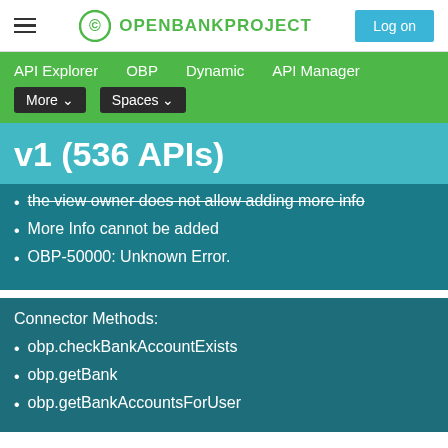OPENBANKPROJECT | Log on
API Explorer  OBP  Dynamic  API Manager  More  Spaces
v1 (536 APIs)
the view owner does not allow adding more info
More Info cannot be added
OBP-50000: Unknown Error.
Connector Methods:
obp.checkBankAccountExists
obp.getBank
obp.getBankAccountsForUser